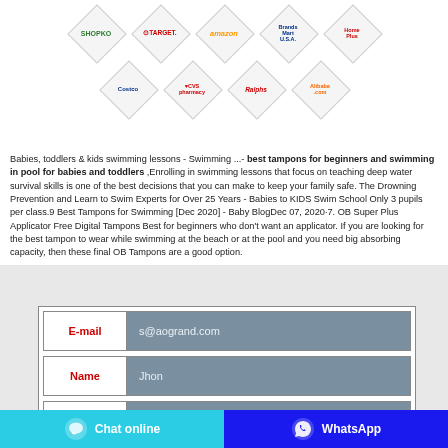[Figure (illustration): Grid of retail brand logos arranged in diamond/rhombus shapes: Shopko, Target, Amazon, BrandsMart USA, Home Plus, Costco, CVS pharmacy, Ralphs, Alibaba.com]
Babies, toddlers & kids swimming lessons - Swimming ...- best tampons for beginners and swimming in pool for babies and toddlers ,Enrolling in swimming lessons that focus on teaching deep water survival skills is one of the best decisions that you can make to keep your family safe. The Drowning Prevention and Learn to Swim Experts for Over 25 Years - Babies to KIDS Swim School Only 3 pupils per class.9 Best Tampons for Swimming [Dec 2020] - Baby BlogDec 07, 2020·7. OB Super Plus Applicator Free Digital Tampons Best for beginners who don't want an applicator. If you are looking for the best tampon to wear while swimming at the beach or at the pool and you need big absorbing capacity, then these final OB Tampons are a good option.
| Field | Value |
| --- | --- |
| E-mail | s@aogrand.com |
| Name | Jhon |
| Whatsapp/Te |  |
| Country | USA |
Chat online   WhatsApp